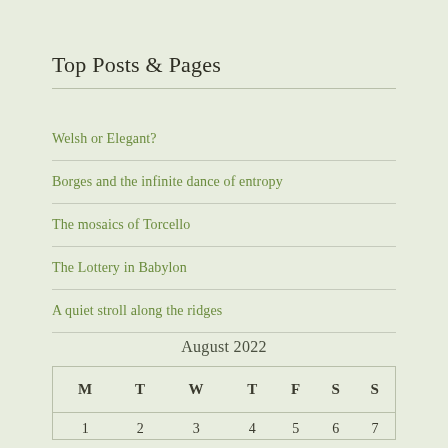Top Posts & Pages
Welsh or Elegant?
Borges and the infinite dance of entropy
The mosaics of Torcello
The Lottery in Babylon
A quiet stroll along the ridges
August 2022
| M | T | W | T | F | S | S |
| --- | --- | --- | --- | --- | --- | --- |
| 1 | 2 | 3 | 4 | 5 | 6 | 7 |